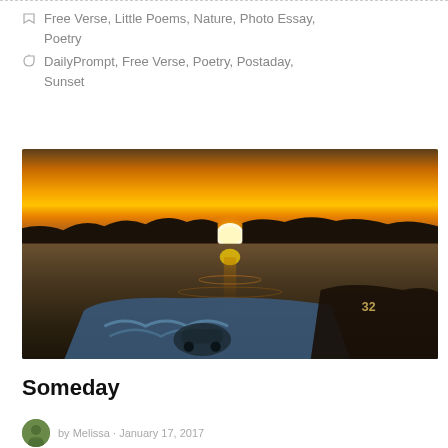Free Verse, Little Poems, Nature, Photo Essay, Poetry
DailyPrompt, Free Verse, Poetry, Postaday, Sunset
[Figure (photo): Sunset over water with silhouetted treeline on horizon, golden sun reflection on water surface, foreground shows decorated bags/items with illustrated car and wave design]
Someday
author avatar and author name with date 2017